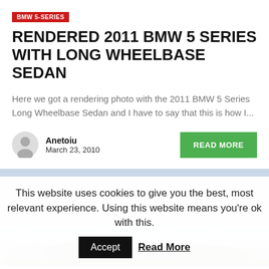BMW 5-SERIES
RENDERED 2011 BMW 5 SERIES WITH LONG WHEELBASE SEDAN
Here we got a rendering photo with the 2011 BMW 5 Series Long Wheelbase Sedan and I have to say that this is how I...
Anetoiu
March 23, 2010
[Figure (photo): Outdoor photo showing a landscape with trees and light sky, partially cropped]
This website uses cookies to give you the best, most relevant experience. Using this website means you're ok with this.
Accept   Read More